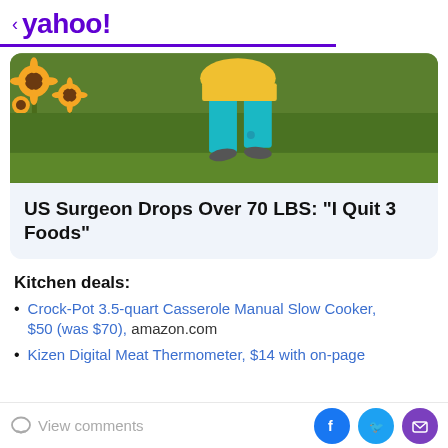< yahoo!
[Figure (photo): Person in yellow shirt and teal capri pants walking near sunflowers and green garden]
US Surgeon Drops Over 70 LBS: "I Quit 3 Foods"
Kitchen deals:
Crock-Pot 3.5-quart Casserole Manual Slow Cooker, $50 (was $70), amazon.com
Kizen Digital Meat Thermometer, $14 with on-page
View comments